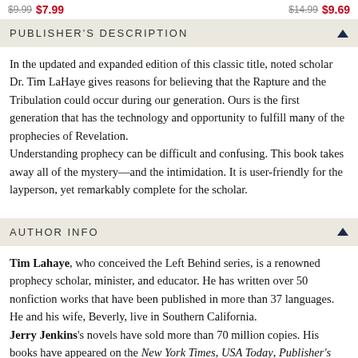$9.99  $7.99    $14.99  $9.69
PUBLISHER'S DESCRIPTION
In the updated and expanded edition of this classic title, noted scholar Dr. Tim LaHaye gives reasons for believing that the Rapture and the Tribulation could occur during our generation. Ours is the first generation that has the technology and opportunity to fulfill many of the prophecies of Revelation.
Understanding prophecy can be difficult and confusing. This book takes away all of the mystery—and the intimidation. It is user-friendly for the layperson, yet remarkably complete for the scholar.
AUTHOR INFO
Tim Lahaye, who conceived the Left Behind series, is a renowned prophecy scholar, minister, and educator. He has written over 50 nonfiction works that have been published in more than 37 languages. He and his wife, Beverly, live in Southern California.
Jerry Jenkins's novels have sold more than 70 million copies. His books have appeared on the New York Times, USA Today, Publisher's Weekly, and